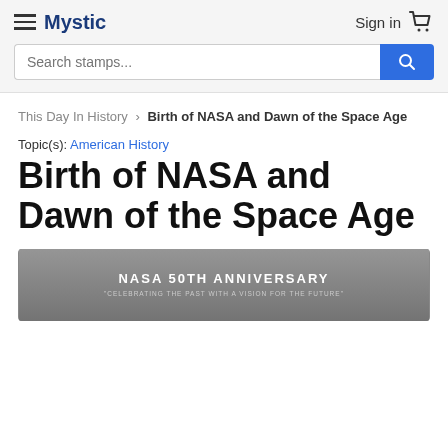Mystic | Sign in
Search stamps...
This Day In History › Birth of NASA and Dawn of the Space Age
Topic(s): American History
Birth of NASA and Dawn of the Space Age
[Figure (photo): NASA 50th Anniversary stamp image — grayscale photo with text overlay reading 'NASA 50TH ANNIVERSARY' and subtitle 'CELEBRATING THE PAST WITH A VISION FOR THE FUTURE']